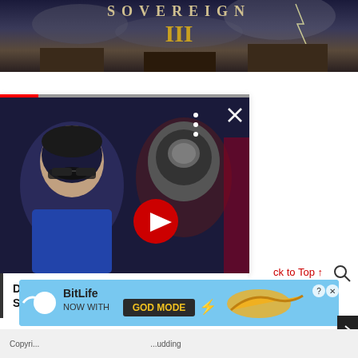[Figure (screenshot): Top banner image showing a dark fantasy strategy game titled SOVEREIGN III with dramatic battlefield scenery, lightning, and fortifications]
[Figure (screenshot): Video card showing Dragon Ball Super: Super Hero anime thumbnail with two anime characters facing each other, a red play button arrow, three dots menu, and X close button. Progress bar at top shows partial completion.]
Dragon Ball Super: Super Hero Gets Special Launch Trailer - Gameranx
ck to Top ↑
[Figure (screenshot): Social media icons: YouTube, Facebook, Twitter]
[Figure (screenshot): Advertisement banner: BitLife NOW WITH GOD MODE with cartoon hand pointing graphic]
Copyri... ...udding